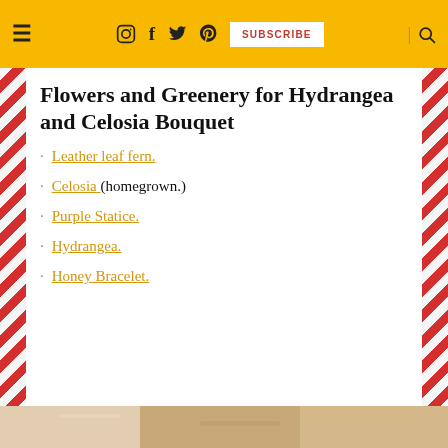≡  ⊙  f  𝕥  𝕡  SUBSCRIBE  🔍
Flowers and Greenery for Hydrangea and Celosia Bouquet
Leather leaf fern.
Celosia (homegrown.)
Purple Statice.
Hydrangea.
Honey Bracelet.
[Figure (photo): Bottom strip showing a partial view of a floral arrangement or craft materials on a table]